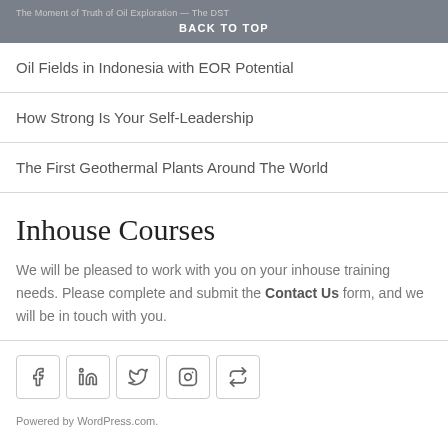The Moment of Truth of Oil Exploration — The DST
BACK TO TOP
Oil Fields in Indonesia with EOR Potential
How Strong Is Your Self-Leadership
The First Geothermal Plants Around The World
Inhouse Courses
We will be pleased to work with you on your inhouse training needs. Please complete and submit the Contact Us form, and we will be in touch with you.
Powered by WordPress.com.